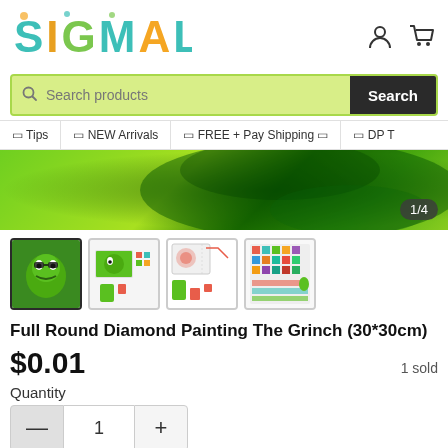[Figure (logo): SigMAll colorful logo with beach/toy themed letter decorations]
[Figure (screenshot): Search bar with green background and dark Search button]
🔲 Tips   🔲 NEW Arrivals   🔲 FREE + Pay Shipping 🔲   🔲 DP T
[Figure (photo): Green banner with Grinch character partially visible, showing 1/4 badge]
[Figure (photo): Four product thumbnail images of The Grinch diamond painting]
Full Round Diamond Painting The Grinch (30*30cm)
$0.01   1 sold
Quantity
— 1 +